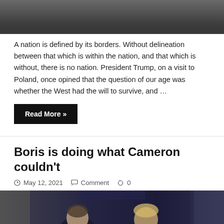[Figure (photo): People walking, dark silhouettes on a wet surface, top of page (cropped)]
A nation is defined by its borders. Without delineation between that which is within the nation, and that which is without, there is no nation. President Trump, on a visit to Poland, once opined that the question of our age was whether the West had the will to survive, and …
Read More »
Boris is doing what Cameron couldn't
May 12, 2021   Comment   0
[Figure (photo): Two men in suits walking, one with fair hair, one with dark hair, in an indoor corridor with blue lighting]